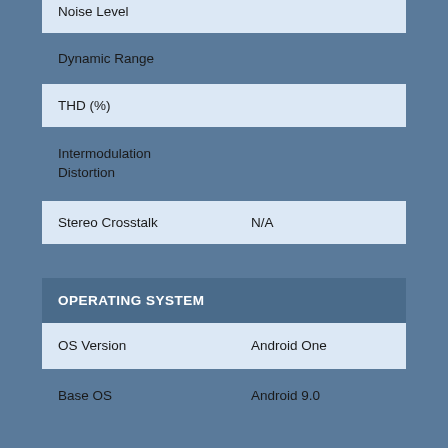| Specification | Value |
| --- | --- |
| Noise Level |  |
| Dynamic Range |  |
| THD (%) |  |
| Intermodulation Distortion |  |
| Stereo Crosstalk | N/A |
| OPERATING SYSTEM |  |
| --- | --- |
| OS Version | Android One |
| Base OS | Android 9.0 |